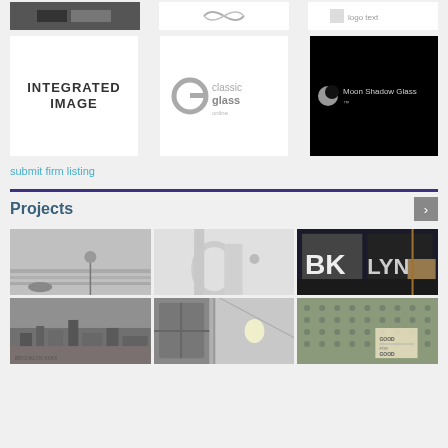[Figure (logo): Three logos in top row: dark/gray box logo on left, heart/waveform logo center, small logo right on white]
[Figure (logo): Three logos in second row: INTEGRATED IMAGE (white bg), Classic Glass (white bg, gray G logo), Moon Shadow Glass (black bg, white text)]
submit firm listing
Projects
[Figure (photo): Grid of 6 black and white and color photographs showing architectural/urban scenes including a playground, Brooklyn sign, and cityscapes]